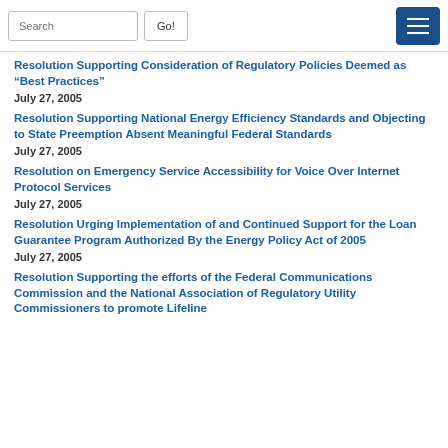Search | Go! | Menu
Resolution Supporting Consideration of Regulatory Policies Deemed as “Best Practices”
July 27, 2005
Resolution Supporting National Energy Efficiency Standards and Objecting to State Preemption Absent Meaningful Federal Standards
July 27, 2005
Resolution on Emergency Service Accessibility for Voice Over Internet Protocol Services
July 27, 2005
Resolution Urging Implementation of and Continued Support for the Loan Guarantee Program Authorized By the Energy Policy Act of 2005
July 27, 2005
Resolution Supporting the efforts of the Federal Communications Commission and the National Association of Regulatory Utility Commissioners to promote Lifeline